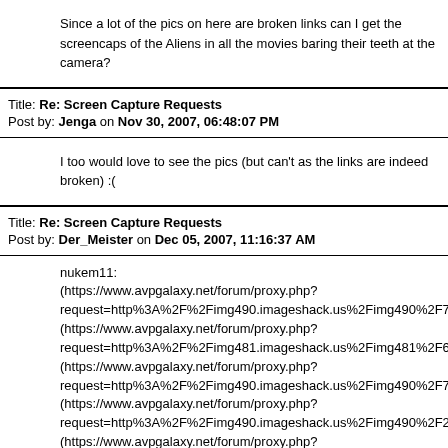Since a lot of the pics on here are broken links can I get the screencaps of the Aliens in all the movies baring their teeth at the camera?
Title: Re: Screen Capture Requests
Post by: Jenga on Nov 30, 2007, 06:48:07 PM
I too would love to see the pics (but can't as the links are indeed broken) :(
Title: Re: Screen Capture Requests
Post by: Der_Meister on Dec 05, 2007, 11:16:37 AM
nukem11:
(https://www.avpgalaxy.net/forum/proxy.php?request=http%3A%2F%2Fimg490.imageshack.us%2Fimg490%2F70949
(https://www.avpgalaxy.net/forum/proxy.php?request=http%3A%2F%2Fimg481.imageshack.us%2Fimg481%2F63019
(https://www.avpgalaxy.net/forum/proxy.php?request=http%3A%2F%2Fimg490.imageshack.us%2Fimg490%2F73179
(https://www.avpgalaxy.net/forum/proxy.php?request=http%3A%2F%2Fimg490.imageshack.us%2Fimg490%2F28209
(https://www.avpgalaxy.net/forum/proxy.php?request=http%3A%2F%2Fimg481.imageshack.us%2Fimg481%2F95309
(https://www.avpgalaxy.net/forum/proxy.php?request=http%3A%2F%2Fimg481.imageshack.us%2Fimg481%2F82909